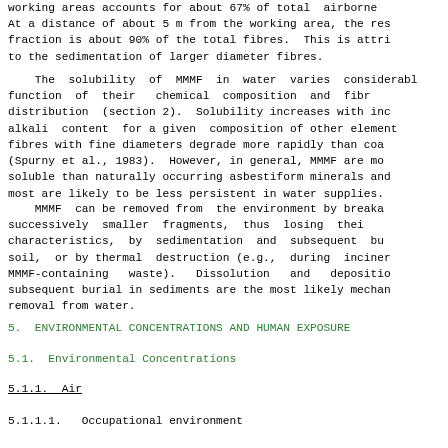working areas accounts for about 67% of total airborne. At a distance of about 5 m from the working area, the respirable fraction is about 90% of the total fibres. This is attributed to the sedimentation of larger diameter fibres.
The solubility of MMMF in water varies considerably as a function of their chemical composition and fibre diameter distribution (section 2). Solubility increases with increasing alkali content for a given composition of other elements, and fibres with fine diameters degrade more rapidly than coarser ones (Spurny et al., 1983). However, in general, MMMF are more soluble than naturally occurring asbestiform minerals and most are likely to be less persistent in water supplies.
MMMF can be removed from the environment by breakage into successively smaller fragments, thus losing their fibrous characteristics, by sedimentation and subsequent burial in soil, or by thermal destruction (e.g., during incineration of MMMF-containing waste). Dissolution and deposition with subsequent burial in sediments are the most likely mechanisms for removal from water.
5.  ENVIRONMENTAL CONCENTRATIONS AND HUMAN EXPOSURE
5.1.  Environmental Concentrations
5.1.1.  Air
5.1.1.1.  Occupational environment